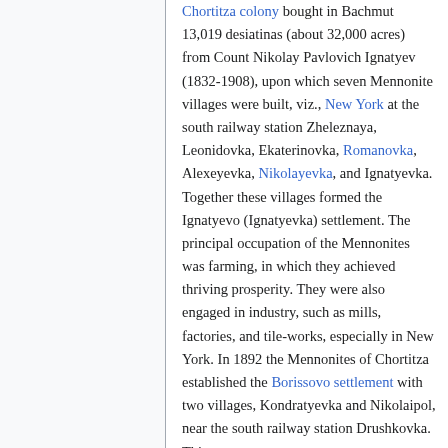Chortitza colony bought in Bachmut 13,019 desiatinas (about 32,000 acres) from Count Nikolay Pavlovich Ignatyev (1832-1908), upon which seven Mennonite villages were built, viz., New York at the south railway station Zheleznaya, Leonidovka, Ekaterinovka, Romanovka, Alexeyevka, Nikolayevka, and Ignatyevka. Together these villages formed the Ignatyevo (Ignatyevka) settlement. The principal occupation of the Mennonites was farming, in which they achieved thriving prosperity. They were also engaged in industry, such as mills, factories, and tile-works, especially in New York. In 1892 the Mennonites of Chortitza established the Borissovo settlement with two villages, Kondratyevka and Nikolaipol, near the south railway station Drushkovka. This